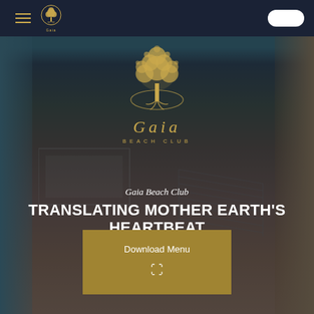Navigation bar with hamburger menu, Gaia logo, and toggle button
[Figure (logo): Gaia Beach Club logo: golden tree of life illustration above italic 'Gaia' wordmark with 'BEACH CLUB' subtitle, centered on aerial beach photo background]
Gaia Beach Club – TRANSLATING MOTHER EARTH'S HEARTBEAT
Los Lances Beach Tarifa
Download Menu